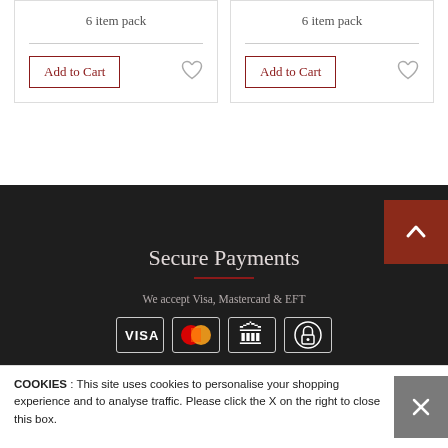6 item pack
6 item pack
Add to Cart
Add to Cart
Secure Payments
We accept Visa, Mastercard & EFT
[Figure (other): Payment icons: VISA, Mastercard, Bank/EFT, Secure lock]
COOKIES : This site uses cookies to personalise your shopping experience and to analyse traffic. Please click the X on the right to close this box.
Information